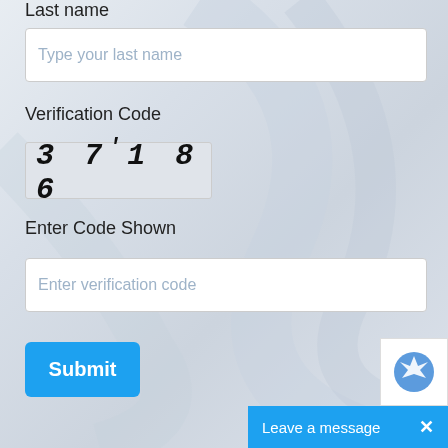Last name
[Figure (screenshot): Text input field with placeholder 'Type your last name']
Verification Code
[Figure (other): CAPTCHA image showing handwritten-style digits: 3 7 1 1 8 6]
Enter Code Shown
[Figure (screenshot): Text input field with placeholder 'Enter verification code']
[Figure (screenshot): Blue Submit button]
[Figure (other): reCAPTCHA badge widget in bottom right corner]
Leave a message